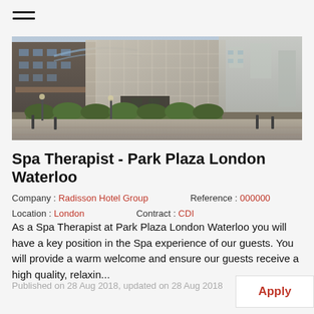[Figure (photo): Exterior photo of Park Plaza London Waterloo hotel building, modern architecture with glass and concrete facade, landscaped entrance with hedges and bollards]
Spa Therapist - Park Plaza London Waterloo
Company : Radisson Hotel Group    Reference : 000000
Location :  London       Contract : CDI
As a Spa Therapist at Park Plaza London Waterloo you will have a key position in the Spa experience of our guests. You will provide a warm welcome and ensure our guests receive a high quality, relaxin...
Published on 28 Aug 2018, updated on 28 Aug 2018